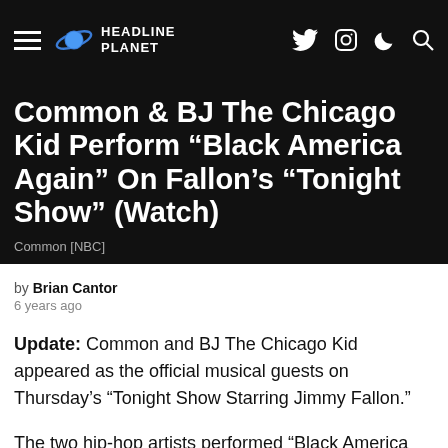HEADLINE PLANET
Common & BJ The Chicago Kid Perform “Black America Again” On Fallon’s “Tonight Show” (Watch)
Common [NBC]
by Brian Cantor
6 years ago
Update: Common and BJ The Chicago Kid appeared as the official musical guests on Thursday’s “Tonight Show Starring Jimmy Fallon.”
The two hip-hop artists performed “Black America